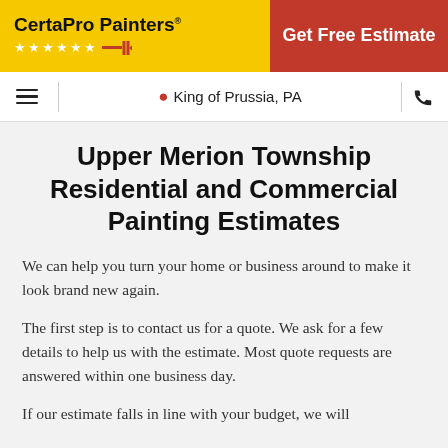[Figure (logo): CertaPro Painters logo on yellow background with stars and red accent bar]
Get Free Estimate
King of Prussia, PA
Upper Merion Township Residential and Commercial Painting Estimates
We can help you turn your home or business around to make it look brand new again.
The first step is to contact us for a quote. We ask for a few details to help us with the estimate. Most quote requests are answered within one business day.
If our estimate falls in line with your budget, we will